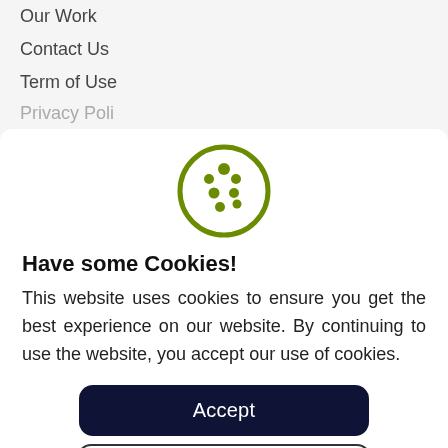Our Work
Contact Us
Term of Use
Privacy Poli…
[Figure (illustration): Cookie icon: a circle outline in olive green with several filled dots inside representing a cookie]
Have some Cookies!
This website uses cookies to ensure you get the best experience on our website. By continuing to use the website, you accept our use of cookies.
Accept
Learn More